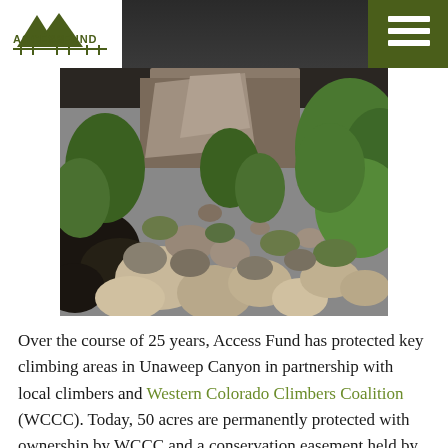Access Fund — navigation header with logo and menu
[Figure (photo): Rocky canyon terrain with boulders and green shrubs/trees, Unaweep Canyon climbing area]
Over the course of 25 years, Access Fund has protected key climbing areas in Unaweep Canyon in partnership with local climbers and Western Colorado Climbers Coalition (WCCC). Today, 50 acres are permanently protected with ownership by WCCC and a conservation easement held by Access Fund to back up WCCC's